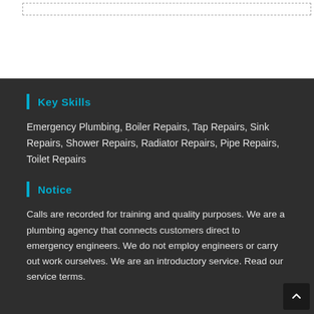Key Skills
Emergency Plumbing, Boiler Repairs, Tap Repairs, Sink Repairs, Shower Repairs, Radiator Repairs, Pipe Repairs, Toilet Repairs
Notice
Calls are recorded for training and quality purposes. We are a plumbing agency that connects customers direct to emergency engineers. We do not employ engineers or carry out work ourselves. We are an introductory service. Read our service terms.